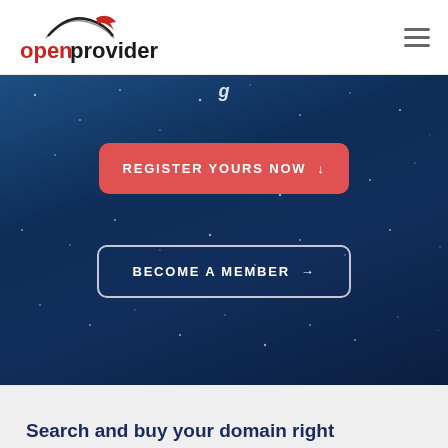[Figure (logo): Openprovider logo: black arc with red arrow above text 'openprovider' in black and red]
[Figure (illustration): Hamburger menu icon (three horizontal lines) in top right corner]
[Figure (photo): Dark blue starfield hero banner background with partial italic heading partially visible at top]
REGISTER YOURS NOW ↓
BECOME A MEMBER →
Search and buy your domain right